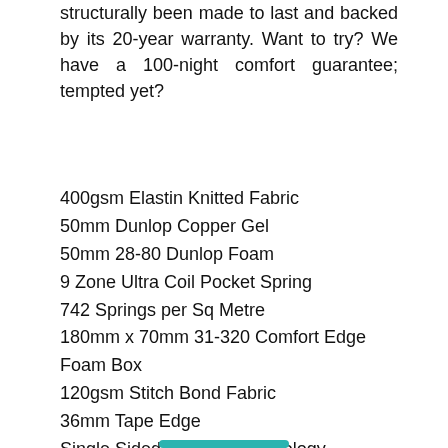structurally been made to last and backed by its 20-year warranty. Want to try? We have a 100-night comfort guarantee; tempted yet?
400gsm Elastin Knitted Fabric
50mm Dunlop Copper Gel
50mm 28-80 Dunlop Foam
9 Zone Ultra Coil Pocket Spring
742 Springs per Sq Metre
180mm x 70mm 31-320 Comfort Edge Foam Box
120gsm Stitch Bond Fabric
36mm Tape Edge
Single Sided No Turn Technology